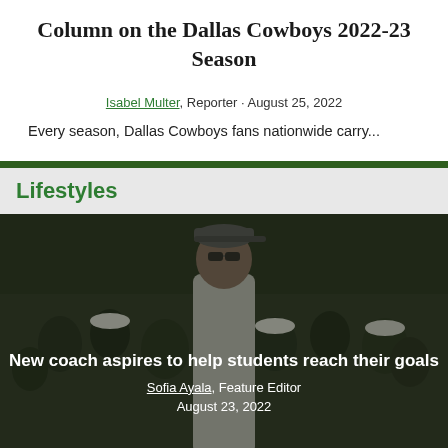Column on the Dallas Cowboys 2022-23 Season
Isabel Multer, Reporter · August 25, 2022
Every season, Dallas Cowboys fans nationwide carry...
Lifestyles
[Figure (photo): A man in a baseball cap and sunglasses standing in front of a crowd, overlaid with article title text]
New coach aspires to help students reach their goals
Sofia Ayala, Feature Editor
August 23, 2022